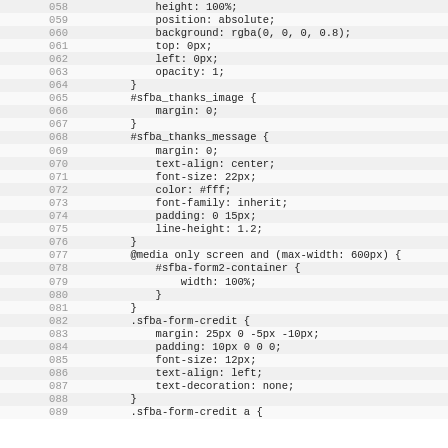Code listing lines 058-089, CSS source code
| line | code |
| --- | --- |
| 058 |             height: 100%; |
| 059 |             position: absolute; |
| 060 |             background: rgba(0, 0, 0, 0.8); |
| 061 |             top: 0px; |
| 062 |             left: 0px; |
| 063 |             opacity: 1; |
| 064 |         } |
| 065 |         #sfba_thanks_image { |
| 066 |             margin: 0; |
| 067 |         } |
| 068 |         #sfba_thanks_message { |
| 069 |             margin: 0; |
| 070 |             text-align: center; |
| 071 |             font-size: 22px; |
| 072 |             color: #fff; |
| 073 |             font-family: inherit; |
| 074 |             padding: 0 15px; |
| 075 |             line-height: 1.2; |
| 076 |         } |
| 077 |         @media only screen and (max-width: 600px) { |
| 078 |             #sfba-form2-container { |
| 079 |                 width: 100%; |
| 080 |             } |
| 081 |         } |
| 082 |         .sfba-form-credit { |
| 083 |             margin: 25px 0 -5px -10px; |
| 084 |             padding: 10px 0 0 0; |
| 085 |             font-size: 12px; |
| 086 |             text-align: left; |
| 087 |             text-decoration: none; |
| 088 |         } |
| 089 |         .sfba-form-credit a { |